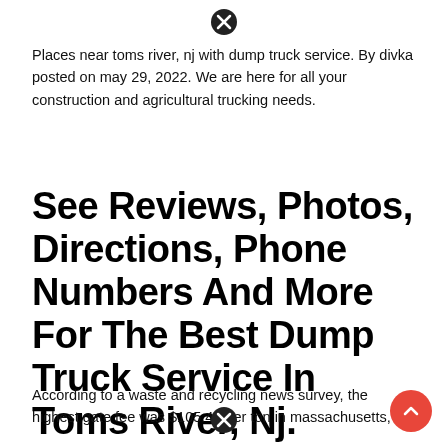[Figure (other): Close/cancel button icon (circle with X) at top center]
Places near toms river, nj with dump truck service. By divka posted on may 29, 2022. We are here for all your construction and agricultural trucking needs.
See Reviews, Photos, Directions, Phone Numbers And More For The Best Dump Truck Service In Toms River, Nj.
According to a waste and recycling news survey, the highest gate fee was $105.40 per ton in massachusetts, and the lowest was $18.48 per ton in idaho. Reported...
[Figure (other): Close/cancel button icon (circle with X) at bottom center]
[Figure (other): Red circular scroll-to-top button with upward chevron arrow at bottom right]